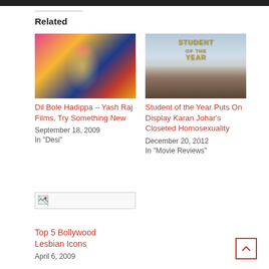Related
[Figure (photo): Colorful Bollywood dancer in traditional costume for Dil Bole Hadippa]
Dil Bole Hadippa – Yash Raj Films, Try Something New
September 18, 2009
In "Desi"
[Figure (photo): Student of the Year movie poster with three young actors and golden text 'Student of the Year']
Student of the Year Puts On Display Karan Johar's Closeted Homosexuality
December 20, 2012
In "Movie Reviews"
[Figure (photo): Broken image placeholder for third related article]
Top 5 Bollywood Lesbian Icons
April 6, 2009